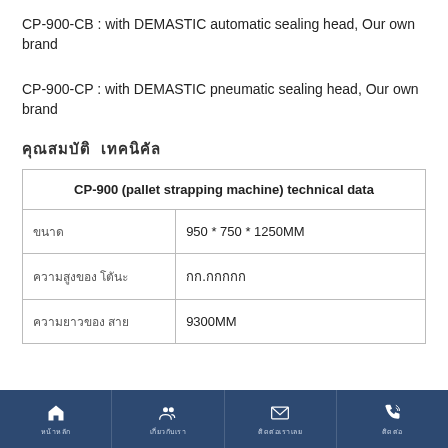CP-900-CB : with DEMASTIC automatic sealing head, Our own brand
CP-900-CP : with DEMASTIC pneumatic sealing head, Our own brand
คุณสมบัติ เทคนิคัล
| CP-900 (pallet strapping machine) technical data |
| --- |
| ขนาด | 950 * 750 * 1250MM |
| ความสูงของ โต๊ะ | กก.กกกกก |
| ความยาวของ สาย | 9300MM |
หน้าหลัก | เกี่ยวกับเรา | ติดต่อเราเลย | ติดต่อ